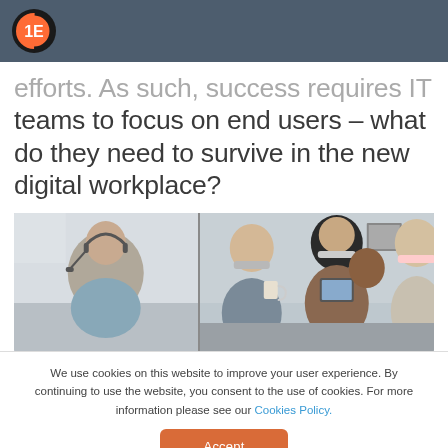1E logo header
efforts. As such, success requires IT teams to focus on end users – what do they need to survive in the new digital workplace?
[Figure (photo): Two-panel workplace photo: left panel shows a woman wearing a headset at a desk; right panel shows a group of masked colleagues looking at a tablet.]
We use cookies on this website to improve your user experience. By continuing to use the website, you consent to the use of cookies. For more information please see our Cookies Policy.
Accept